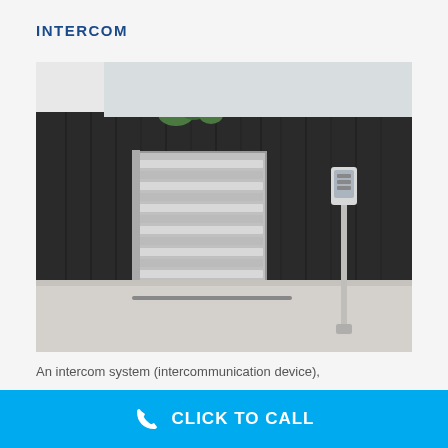INTERCOM
[Figure (photo): Photograph of a driveway with a dark wooden fence/wall, a louvred aluminium sliding gate, and an intercom panel mounted on a post to the right.]
An intercom system (intercommunication device),
CLICK TO CALL